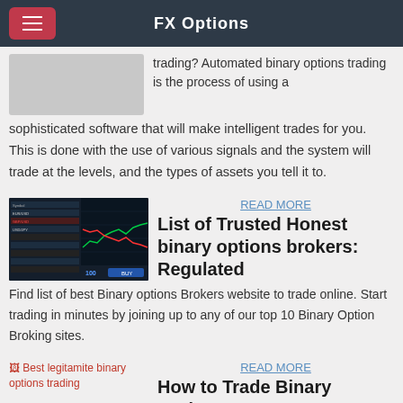FX Options
trading? Automated binary options trading is the process of using a sophisticated software that will make intelligent trades for you. This is done with the use of various signals and the system will trade at the levels, and the types of assets you tell it to.
[Figure (screenshot): Trading platform screenshot showing charts and data]
READ MORE
List of Trusted Honest binary options brokers: Regulated
Find list of best Binary options Brokers website to trade online. Start trading in minutes by joining up to any of our top 10 Binary Option Broking sites.
[Figure (illustration): Best legitamite binary options trading - broken image placeholder]
READ MORE
How to Trade Binary Options